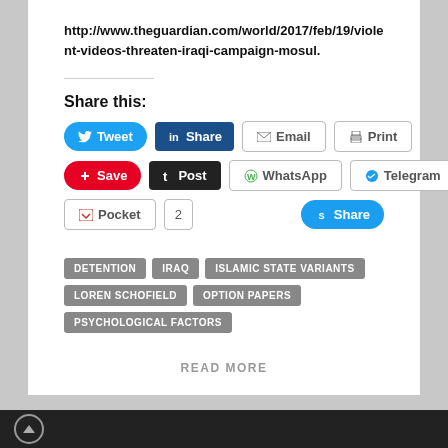http://www.theguardian.com/world/2017/feb/19/violent-videos-threaten-iraqi-campaign-mosul.
Share this:
Tweet | Share | Email | Print | Save | Post | WhatsApp | Telegram | Pocket 2 | Share
DETENTION
IRAQ
ISLAMIC STATE VARIANTS
LOREN SCHOFIELD
OPTION PAPERS
PSYCHOLOGICAL FACTORS
READ MORE